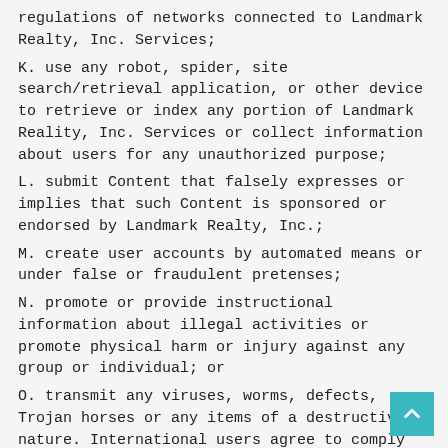regulations of networks connected to Landmark Realty, Inc. Services;
K. use any robot, spider, site search/retrieval application, or other device to retrieve or index any portion of Landmark Reality, Inc. Services or collect information about users for any unauthorized purpose;
L. submit Content that falsely expresses or implies that such Content is sponsored or endorsed by Landmark Realty, Inc.;
M. create user accounts by automated means or under false or fraudulent pretenses;
N. promote or provide instructional information about illegal activities or promote physical harm or injury against any group or individual; or
O. transmit any viruses, worms, defects, Trojan horses or any items of a destructive nature. International users agree to comply with their